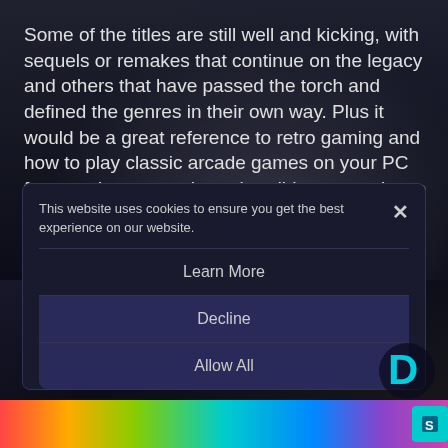Some of the titles are still well and kicking, with sequels or remakes that continue on the legacy and others that have passed the torch and defined the genres in their own way. Plus it would be a great reference to retro gaming and how to play classic arcade games on your PC for any players out there that did not experience these groundbreaking titles. Ready? Let's go!
...read more
This website uses cookies to ensure you get the best experience on our website.
Learn More
Decline
Allow All
You may also like